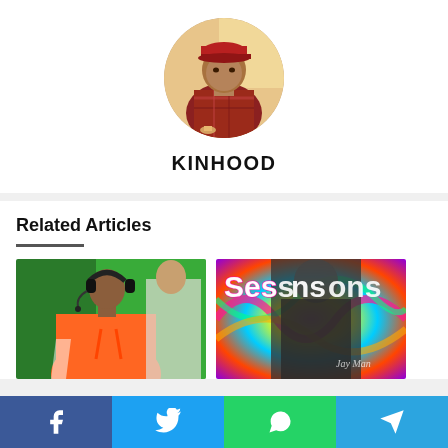[Figure (photo): Circular profile photo of a person wearing a red cap and plaid shirt, seated indoors]
KINHOOD
Related Articles
[Figure (photo): Photo of a young person wearing headphones and an orange hoodie at an event]
[Figure (photo): Colorful album art with the word 'Sessions' in white text over a psychedelic swirl background with a silhouette]